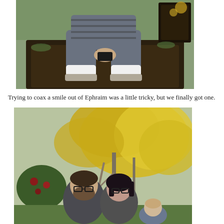[Figure (photo): Child sitting in a wheelbarrow or wooden box outdoors, wearing a grey striped shirt, grey pants, white socks and shoes, holding a small toy or object. Green grass and autumn leaves visible in background.]
Trying to coax a smile out of Ephraim was a little tricky, but we finally got one.
[Figure (photo): Family photo outdoors with yellow autumn trees in background. A man with beard and glasses smiling, a woman with dark hair and glasses, and a small child partially visible, standing in front of bushes with red flowers.]